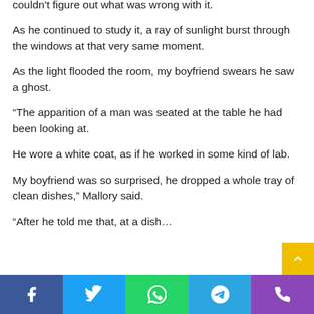couldn't figure out what was wrong with it.
As he continued to study it, a ray of sunlight burst through the windows at that very same moment.
As the light flooded the room, my boyfriend swears he saw a ghost.
“The apparition of a man was seated at the table he had been looking at.
He wore a white coat, as if he worked in some kind of lab.
My boyfriend was so surprised, he dropped a whole tray of clean dishes,” Mallory said.
“After he told me that, at a dish…
Facebook | Twitter | WhatsApp | Telegram | Phone